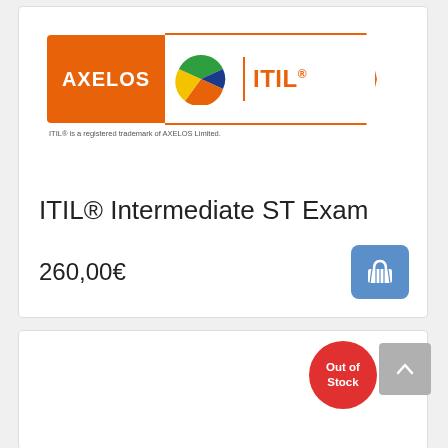[Figure (logo): AXELOS ITIL® logo with orange banner, pie chart icon, and orange divider]
ITIL® is a registered trademark of AXELOS Limited.
ITIL® Intermediate ST Exam
260,00€
[Figure (other): Shopping cart button (blue rounded square with cart icon)]
[Figure (other): Out of Stock red circular badge]
[Figure (other): Scroll to top grey button with up arrow]